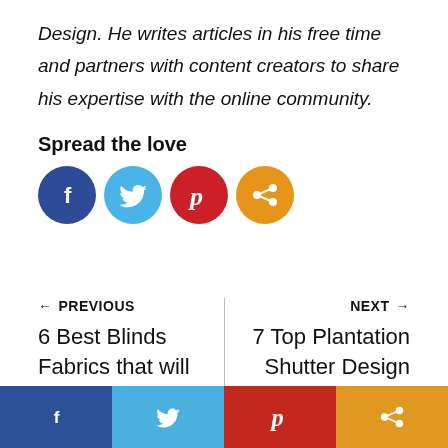Design. He writes articles in his free time and partners with content creators to share his expertise with the online community.
Spread the love
[Figure (infographic): Social sharing icons: Facebook (dark blue circle), Twitter (light blue circle), Pinterest (red circle), Share (orange circle)]
← PREVIOUS
6 Best Blinds Fabrics that will Suits Your Taste
NEXT →
7 Top Plantation Shutter Design According to Cost
[Figure (infographic): Bottom social share bar with four sections: Facebook (dark blue), Twitter (light blue), Pinterest (red), Share (orange)]